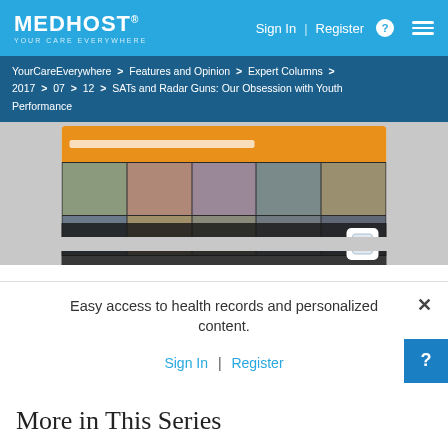MEDHOST YOUR CARE EVERYWHERE | Sign In | Register
YourCareEverywhere > Features and Opinion > Expert Columns > 2017 > 07 > 12 > SATs and Radar Guns: Our Obsession with Youth Performance
[Figure (screenshot): Screenshot of the YourCareEverywhere website displayed on a monitor, with an orange section, image grid of people, and a banner reading 'Learn how with YCE for WordPress']
Easy access to health records and personalized content.
Sign In | Register
More in This Series